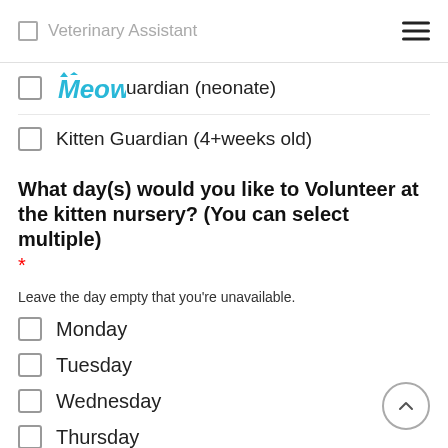Veterinary Assistant
Meow Guardian (neonate)
Kitten Guardian (4+weeks old)
What day(s) would you like to Volunteer at the kitten nursery? (You can select multiple) *
Leave the day empty that you're unavailable.
Monday
Tuesday
Wednesday
Thursday
Friday